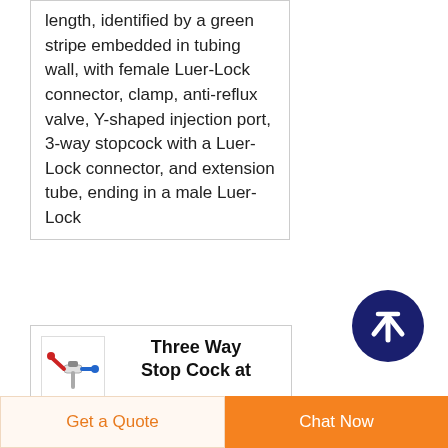length, identified by a green stripe embedded in tubing wall, with female Luer-Lock connector, clamp, anti-reflux valve, Y-shaped injection port, 3-way stopcock with a Luer-Lock connector, and extension tube, ending in a male Luer-Lock
[Figure (other): Dark navy blue circular scroll-to-top button with a white upward arrow icon]
Three Way Stop Cock at Best Price in India
[Figure (photo): Small product image of a three way stop cock with red and blue colored ports]
3 ways stopcock is used for infusion therapy and pressure monitoring line. Rotating man
Get a Quote
Chat Now